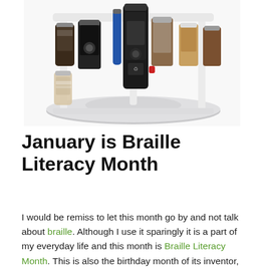[Figure (photo): A rotating spice rack organizer filled with various spice bottles and condiment jars, with a white plastic frame structure, viewed from slightly above.]
January is Braille Literacy Month
I would be remiss to let this month go by and not talk about braille. Although I use it sparingly it is a part of my everyday life and this month is Braille Literacy Month. This is also the birthday month of its inventor, Louis Braille. In my very first post on Triple E I shared about Braille, how he